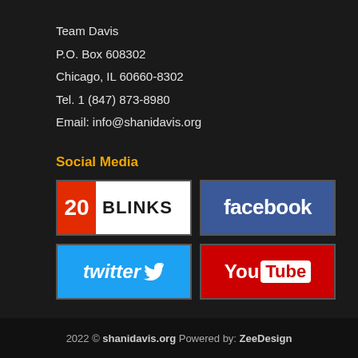Team Davis
P.O. Box 608302
Chicago, IL 60660-8302
Tel. 1 (847) 873-8980
Email: info@shanidavis.org
Social Media
[Figure (logo): 20 Blinks social media logo - red square with '20' and black text 'BLINKS' on white background]
[Figure (logo): Facebook logo - white text 'facebook' on blue background]
[Figure (logo): Twitter logo - white italic text 'twitter' with bird icon on light blue background]
[Figure (logo): YouTube logo - white 'You' and white 'Tube' in white box on red background]
2022 © shanidavis.org Powered by: ZeeDesign